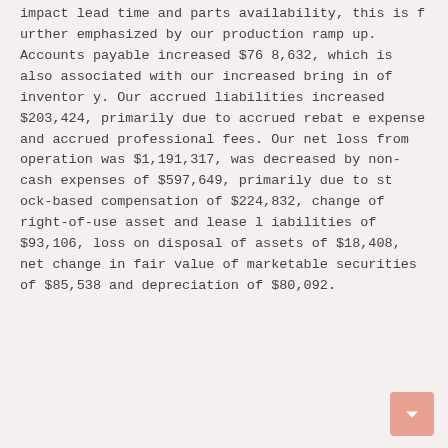impact lead time and parts availability, this is further emphasized by our production ramp up. Accounts payable increased $768,632, which is also associated with our increased bring in of inventory. Our accrued liabilities increased $203,424, primarily due to accrued rebate expense and accrued professional fees. Our net loss from operation was $1,191,317, was decreased by non-cash expenses of $597,649, primarily due to stock-based compensation of $224,832, change of right-of-use asset and lease liabilities of $93,106, loss on disposal of assets of $18,408, net change in fair value of marketable securities of $85,538 and depreciation of $80,092.